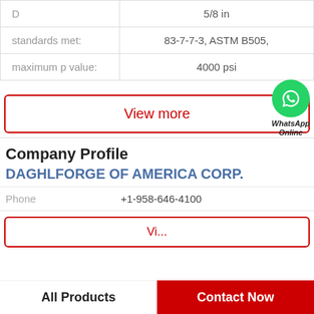| Property | Value |
| --- | --- |
| D | 5/8 in |
| standards met: | 83-7-7-3, ASTM B505, |
| maximum p value: | 4000 psi |
View more
[Figure (logo): WhatsApp green circle icon with phone handset, labeled WhatsApp Online]
Company Profile
DAGHLFORGE OF AMERICA CORP.
Phone  +1-958-646-4100
View more (partial)
All Products   Contact Now